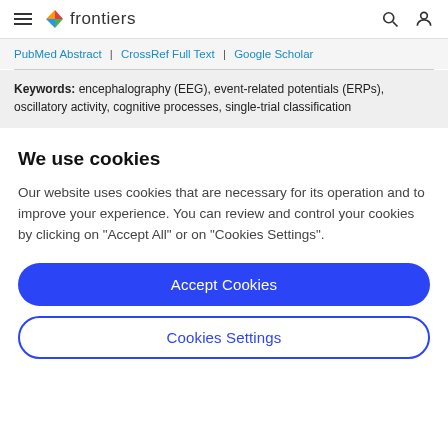frontiers
PubMed Abstract | CrossRef Full Text | Google Scholar
Keywords: encephalography (EEG), event-related potentials (ERPs), oscillatory activity, cognitive processes, single-trial classification
We use cookies
Our website uses cookies that are necessary for its operation and to improve your experience. You can review and control your cookies by clicking on "Accept All" or on "Cookies Settings".
Accept Cookies
Cookies Settings